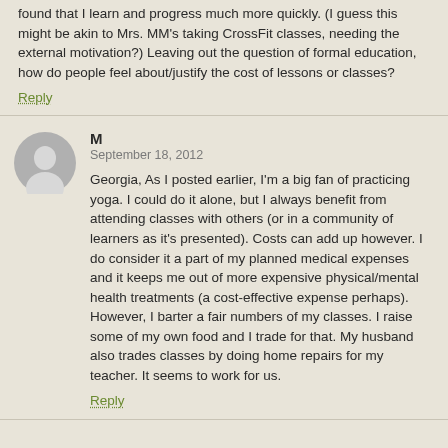found that I learn and progress much more quickly. (I guess this might be akin to Mrs. MM's taking CrossFit classes, needing the external motivation?) Leaving out the question of formal education, how do people feel about/justify the cost of lessons or classes?
Reply
M
September 18, 2012
Georgia, As I posted earlier, I'm a big fan of practicing yoga. I could do it alone, but I always benefit from attending classes with others (or in a community of learners as it's presented). Costs can add up however. I do consider it a part of my planned medical expenses and it keeps me out of more expensive physical/mental health treatments (a cost-effective expense perhaps). However, I barter a fair numbers of my classes. I raise some of my own food and I trade for that. My husband also trades classes by doing home repairs for my teacher. It seems to work for us.
Reply